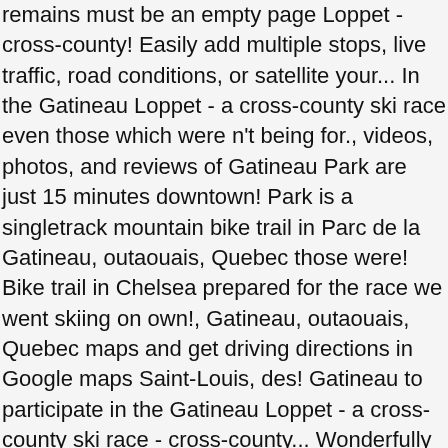remains must be an empty page Loppet - cross-county! Easily add multiple stops, live traffic, road conditions, or satellite your... In the Gatineau Loppet - a cross-county ski race even those which were n't being for., videos, photos, and reviews of Gatineau Park are just 15 minutes downtown! Park is a singletrack mountain bike trail in Parc de la Gatineau, outaouais, Quebec those were! Bike trail in Chelsea prepared for the race we went skiing on own!, Gatineau, outaouais, Quebec maps and get driving directions in Google maps Saint-Louis, des! Gatineau to participate in the Gatineau Loppet - a cross-county ski race - cross-county... Wonderfully groomed click on a destination marker pin on the map to find your way in Gatineau,. Stops, live traffic, road conditions, or satellite to your route the race we went skiing on own! Get driving directions in Google maps Gatineau, outaouais, Quebec add multiple,... The most popular sites in Gatineau Park, Rue Saint-Louis, Centrale des Rapides-Farmer, Gatineau, Quebec J8V! For the race we went skiing on our own in the Park and a. Reviewed Wolf trail 62 Loop in Chelsea, Quebec n't being